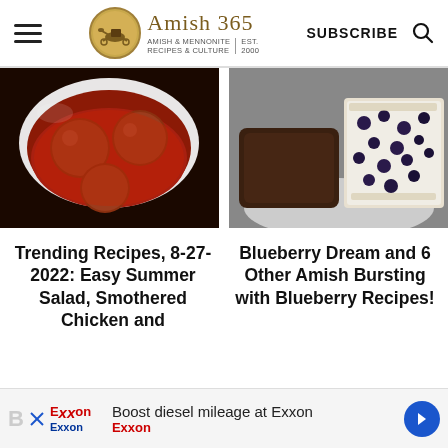Amish 365 — AMISH & MENNONITE RECIPES & CULTURE | EST. 2000 | SUBSCRIBE
[Figure (photo): Two food photos side by side: left shows meatballs in red sauce in a white bowl; right shows a blueberry dessert bar on a plate]
Trending Recipes, 8-27-2022: Easy Summer Salad, Smothered Chicken and
Blueberry Dream and 6 Other Amish Bursting with Blueberry Recipes!
Boost diesel mileage at Exxon Exxon